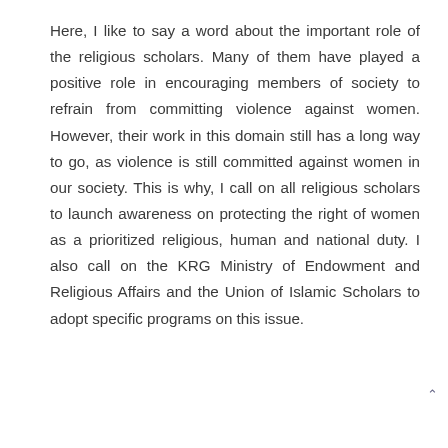Here, I like to say a word about the important role of the religious scholars. Many of them have played a positive role in encouraging members of society to refrain from committing violence against women. However, their work in this domain still has a long way to go, as violence is still committed against women in our society. This is why, I call on all religious scholars to launch awareness on protecting the right of women as a prioritized religious, human and national duty. I also call on the KRG Ministry of Endowment and Religious Affairs and the Union of Islamic Scholars to adopt specific programs on this issue.